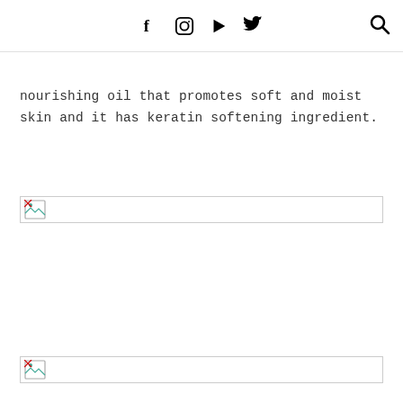f  [instagram]  [youtube]  [twitter]  [search]
nourishing oil that promotes soft and moist skin and it has keratin softening ingredient.
[Figure (photo): Broken/missing image placeholder with landscape icon]
[Figure (photo): Broken/missing image placeholder with landscape icon]